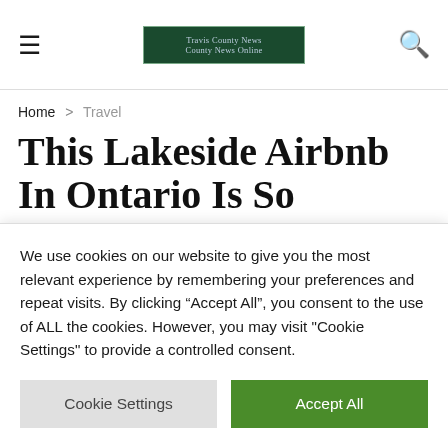Travis County News — County News Online
Home > Travel
This Lakeside Airbnb In Ontario Is So Magical It Even Has A Life-Sized
We use cookies on our website to give you the most relevant experience by remembering your preferences and repeat visits. By clicking “Accept All”, you consent to the use of ALL the cookies. However, you may visit "Cookie Settings" to provide a controlled consent.
Cookie Settings | Accept All